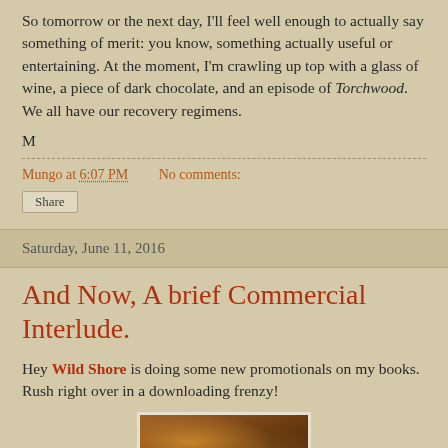So tomorrow or the next day, I'll feel well enough to actually say something of merit: you know, something actually useful or entertaining.  At the moment, I'm crawling up top with a glass of wine, a piece of dark chocolate, and an episode of Torchwood.  We all have our recovery regimens.
M
Mungo at 6:07 PM    No comments:
Share
Saturday, June 11, 2016
And Now, A brief Commercial Interlude.
Hey Wild Shore is doing some new promotionals on my books.  Rush right over in a downloading frenzy!
[Figure (photo): Book cover image showing a warm-toned illustration, partially visible at bottom of page]